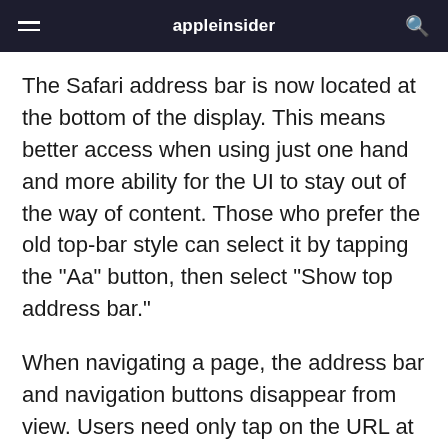appleinsider
The Safari address bar is now located at the bottom of the display. This means better access when using just one hand and more ability for the UI to stay out of the way of content. Those who prefer the old top-bar style can select it by tapping the "Aa" button, then select "Show top address bar."
When navigating a page, the address bar and navigation buttons disappear from view. Users need only tap on the URL at the bottom or scroll up to reveal the address bar again.
A new swiping gesture has been introduced to